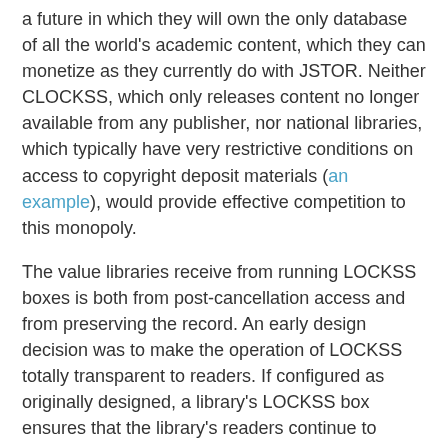a future in which they will own the only database of all the world's academic content, which they can monetize as they currently do with JSTOR. Neither CLOCKSS, which only releases content no longer available from any publisher, nor national libraries, which typically have very restrictive conditions on access to copyright deposit materials (an example), would provide effective competition to this monopoly.
The value libraries receive from running LOCKSS boxes is both from post-cancellation access and from preserving the record. An early design decision was to make the operation of LOCKSS totally transparent to readers. If configured as originally designed, a library's LOCKSS box ensures that the library's readers continue to access preserved content at its original URL. A casual reader cannot tell that the LOCKSS box has done anything. Persuading libraries to pay for a system that delivered no visible value to end users was hard. Eventually, we sacrificed our user interface design principles and allowed LOCKSS boxes to re-publish their content at their own URLs, thus at least showing that the box existed and was doing something useful. A similar problem faces the excellent work of the Memento team.